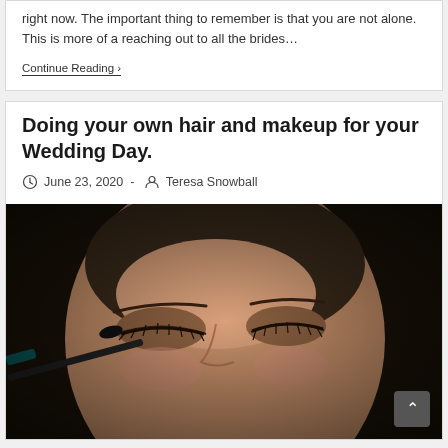right now. The important thing to remember is that you are not alone. This is more of a reaching out to all the brides…
Continue Reading ›
Doing your own hair and makeup for your Wedding Day.
June 23, 2020  -  Teresa Snowball
[Figure (photo): Close-up photo of a woman applying mascara with a makeup brush to her eyelashes, eyes closed, dark background]